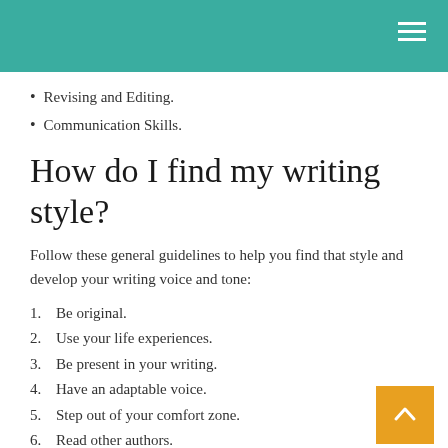Revising and Editing.
Communication Skills.
How do I find my writing style?
Follow these general guidelines to help you find that style and develop your writing voice and tone:
1. Be original.
2. Use your life experiences.
3. Be present in your writing.
4. Have an adaptable voice.
5. Step out of your comfort zone.
6. Read other authors.
7. Write often.
8. Hone your craft.